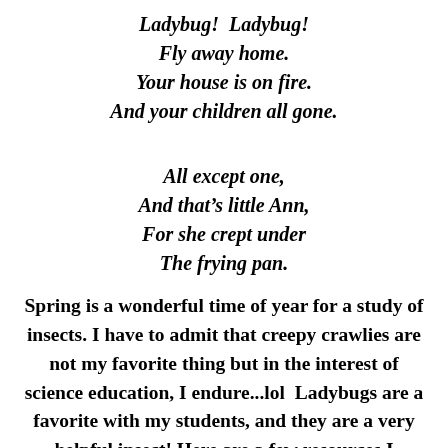Ladybug!  Ladybug!
Fly away home.
Your house is on fire.
And your children all gone.

All except one,
And that's little Ann,
For she crept under
The frying pan.
Spring is a wonderful time of year for a study of insects. I have to admit that creepy crawlies are not my favorite thing but in the interest of science education, I endure...lol  Ladybugs are a favorite with my students, and they are a very helpful insect! Here are a few resources I